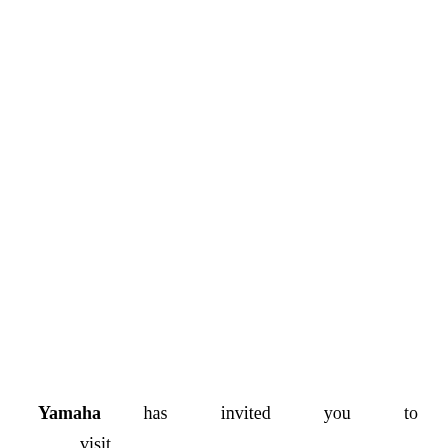Take the Official Yamaha Customer Feedback Survey
Yamaha has invited you to visit www.YamahaCustomerFeedback.com and participate in the Yamaha Customer Satisfaction Survey with the invaluable Yamaha Feedback...